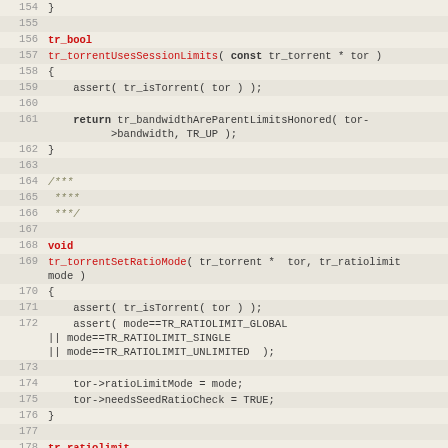[Figure (screenshot): Source code listing in C showing functions tr_torrentUsesSessionLimits, tr_torrentSetRatioMode, and tr_torrentGetRatioMode with line numbers 154-183, displayed in a code editor with alternating row background colors.]